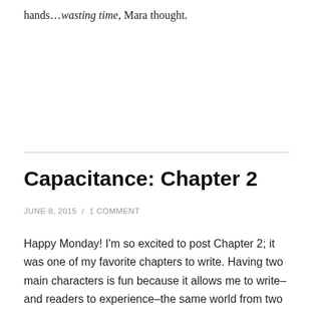hands…wasting time, Mara thought.
Capacitance: Chapter 2
JUNE 8, 2015  /  1 COMMENT
Happy Monday! I'm so excited to post Chapter 2; it was one of my favorite chapters to write. Having two main characters is fun because it allows me to write–and readers to experience–the same world from two different perspectives, illustrating how two people